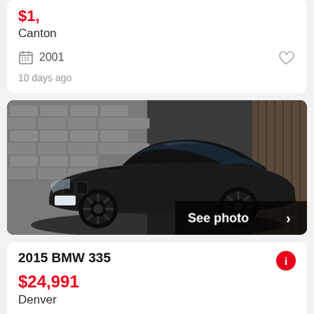$1,XXX (price partially cut off)
Canton
2001
10 days ago
[Figure (photo): Black 2015 BMW 335 sedan photographed at an angle in front of a brick wall, with 'See photo >' overlay in bottom right]
2015 BMW 335
$24,991
Denver
2015